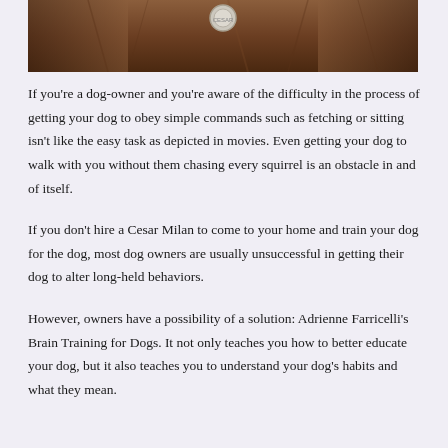[Figure (photo): Partial photo of a brown/auburn dog at the top of the page, with a circular tag or badge visible on its fur]
If you're a dog-owner and you're aware of the difficulty in the process of getting your dog to obey simple commands such as fetching or sitting isn't like the easy task as depicted in movies. Even getting your dog to walk with you without them chasing every squirrel is an obstacle in and of itself.
If you don't hire a Cesar Milan to come to your home and train your dog for the dog, most dog owners are usually unsuccessful in getting their dog to alter long-held behaviors.
However, owners have a possibility of a solution: Adrienne Farricelli's Brain Training for Dogs. It not only teaches you how to better educate your dog, but it also teaches you to understand your dog's habits and what they mean.